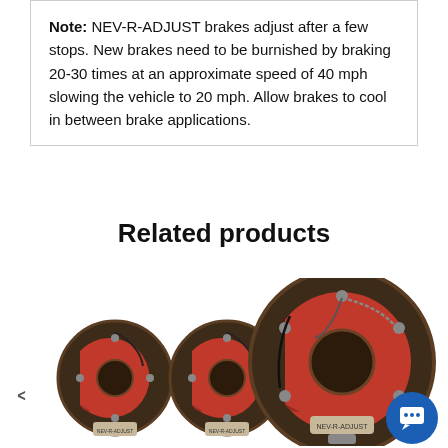Note: NEV-R-ADJUST brakes adjust after a few stops. New brakes need to be burnished by braking 20-30 times at an approximate speed of 40 mph slowing the vehicle to 20 mph. Allow brakes to cool in between brake applications.
Related products
[Figure (photo): Two small drum brake assemblies side by side, showing red brake shoes on a dark metal backing plate with a center hole and a label at the bottom.]
[Figure (photo): One large drum brake assembly showing red brake shoes, springs, cables, and hardware on a dark circular backing plate with a center hole and a label at the bottom.]